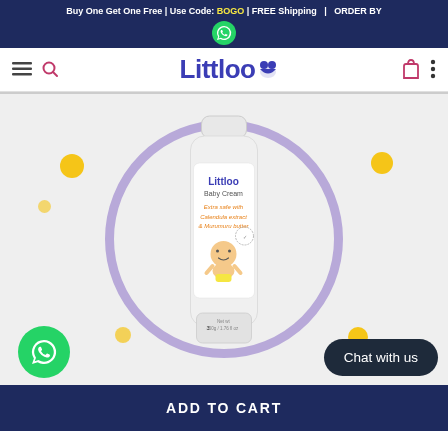Buy One Get One Free | Use Code: BOGO | FREE Shipping | ORDER BY
[Figure (screenshot): Littloo brand logo with shopping cart and navigation icons in navbar]
[Figure (photo): Littloo Baby Cream tube - Extra safe with Calendula extract & Murumuru butter, Net wt 50g / 1.76 fl oz, inside decorative purple circle with yellow dot accents]
Chat with us
ADD TO CART